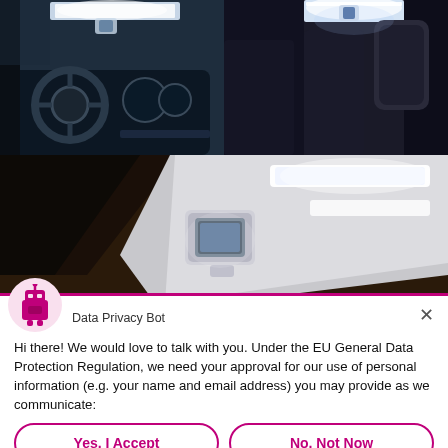[Figure (photo): Car interior photos showing dashboard with steering wheel and LED lighting (top left), rear seat area with headrest and LED strip (top right), and close-up of car interior ceiling with LED dome light device mounted (bottom).]
Data Privacy Bot
Hi there! We would love to talk with you. Under the EU General Data Protection Regulation, we need your approval for our use of personal information (e.g. your name and email address) you may provide as we communicate:
Yes, I Accept
No, Not Now